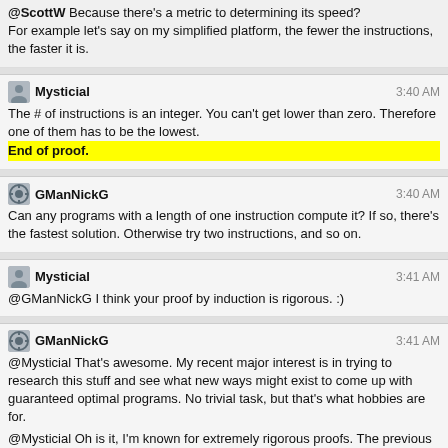@ScottW Because there's a metric to determining its speed?
For example let's say on my simplified platform, the fewer the instructions, the faster it is.
Mysticial 3:40 AM
The # of instructions is an integer. You can't get lower than zero. Therefore one of them has to be the lowest.
End of proof.
GManNickG 3:40 AM
Can any programs with a length of one instruction compute it? If so, there's the fastest solution. Otherwise try two instructions, and so on.
Mysticial 3:41 AM
@GManNickG I think your proof by induction is rigorous. :)
GManNickG 3:41 AM
@Mysticial That's awesome. My recent major interest is in trying to research this stuff and see what new ways might exist to come up with guaranteed optimal programs. No trivial task, but that's what hobbies are for.
@Mysticial Oh is it, I'm known for extremely rigorous proofs. The previous statement is true, for example, because this one is too. QED.
Mysticial 3:43 AM
@GManNickG In the general case, finding a tight lower bounds is NP-something. But in the most actual applications, you can prove a lower bounds simply by identifying a single bottleneck - such as a critical path or the number of a specific type of instruction.
GManNickG 3:45 AM